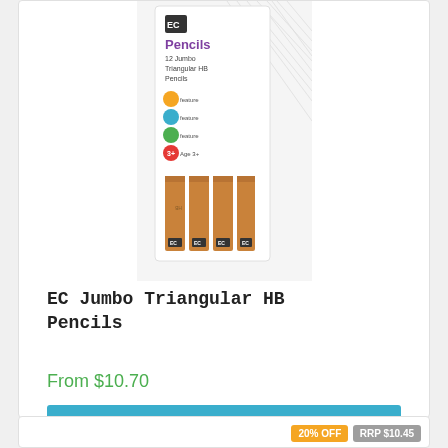[Figure (photo): Product photo of EC Jumbo Triangular HB Pencils package — a tall white cardboard box showing the EC logo, purple Pencils label, '12 Jumbo Triangular HB Pencils' text, feature icons (yellow, blue, green, red circles), and several natural wood-colored triangular pencils visible through the packaging.]
EC Jumbo Triangular HB Pencils
From $10.70
See Options
20% OFF  RRP $10.45